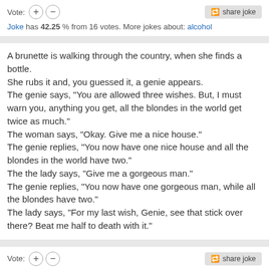Vote: [+] [-]   share joke
Joke has 42.25 % from 16 votes. More jokes about: alcohol
A brunette is walking through the country, when she finds a bottle.
She rubs it and, you guessed it, a genie appears.
The genie says, "You are allowed three wishes. But, I must warn you, anything you get, all the blondes in the world get twice as much."
The woman says, "Okay. Give me a nice house."
The genie replies, "You now have one nice house and all the blondes in the world have two."
The the lady says, "Give me a gorgeous man."
The genie replies, "You now have one gorgeous man, while all the blondes have two."
The lady says, "For my last wish, Genie, see that stick over there? Beat me half to death with it."
Vote: [+] [-]   share joke
Joke has 42.25 % from 16 votes. More jokes about: blonde